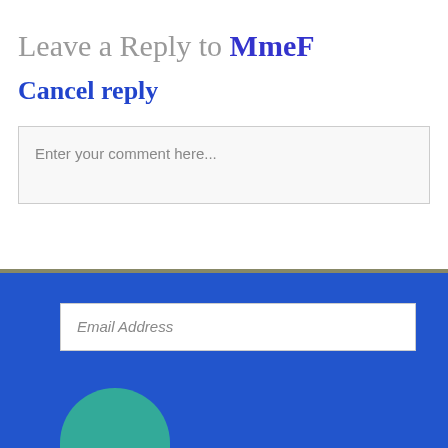Leave a Reply to MmeF
Cancel reply
Enter your comment here...
Email Address